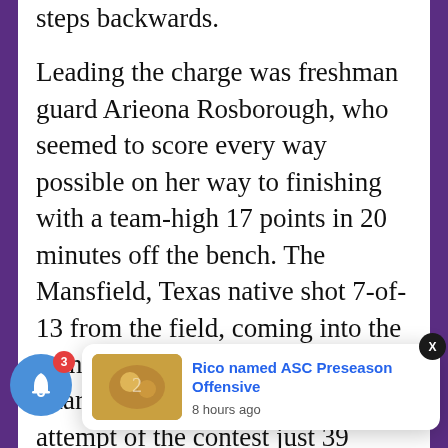steps backwards.
Leading the charge was freshman guard Arieona Rosborough, who seemed to score every way possible on her way to finishing with a team-high 17 points in 20 minutes off the bench. The Mansfield, Texas native shot 7-of-13 from the field, coming into the game at the 6:35 mark of the first quarter. She connected on her first attempt of the contest just 39 seconds after subbing in, as her jumper in the paint put the Cru back in the lead, 6-5. Better yet, the 5'10 guard was fouled on the shot, and c[o...] en the m[...] y sparked a critical 13-2 run from the Crusaders, with Rosborough accounting for
[Figure (screenshot): Notification overlay with bell icon (blue circle, badge showing 3), a notification card showing 'Rico named ASC Preseason Offensive' with timestamp '8 hours ago' and a sports photo thumbnail, and a close X button.]